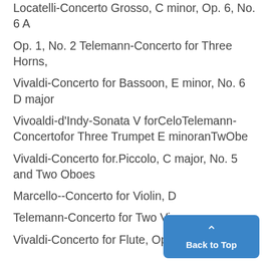Locatelli-Concerto Grosso, C minor, Op. 6, No. 6 A
Op. 1, No. 2 Telemann-Concerto for Three Horns,
Vivaldi-Concerto for Bassoon, E minor, No. 6 D major
Vivoaldi-d'Indy-Sonata V forCeloTelemann-Concertofor Three Trumpet E minoranTwObe
Vivaldi-Concerto for.Piccolo, C major, No. 5 and Two Oboes
Marcello--Concerto for Violin, D
Telemann-Concerto for Two Vi
Vivaldi-Concerto for Flute, Op. 10, No. 2